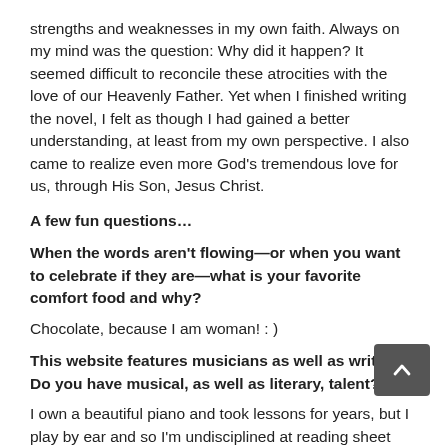strengths and weaknesses in my own faith. Always on my mind was the question: Why did it happen? It seemed difficult to reconcile these atrocities with the love of our Heavenly Father. Yet when I finished writing the novel, I felt as though I had gained a better understanding, at least from my own perspective. I also came to realize even more God's tremendous love for us, through His Son, Jesus Christ.
A few fun questions…
When the words aren't flowing—or when you want to celebrate if they are—what is your favorite comfort food and why?
Chocolate, because I am woman! : )
This website features musicians as well as writers. Do you have musical, as well as literary, talent?
I own a beautiful piano and took lessons for years, but I play by ear and so I'm undisciplined at reading sheet music. I also